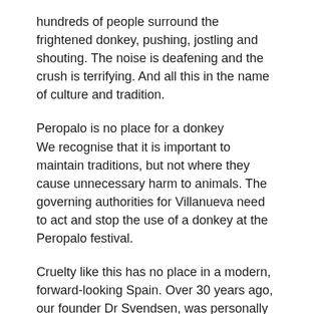hundreds of people surround the frightened donkey, pushing, jostling and shouting. The noise is deafening and the crush is terrifying. And all this in the name of culture and tradition.
Peropalo is no place for a donkey
We recognise that it is important to maintain traditions, but not where they cause unnecessary harm to animals. The governing authorities for Villanueva need to act and stop the use of a donkey at the Peropalo festival.
Cruelty like this has no place in a modern, forward-looking Spain. Over 30 years ago, our founder Dr Svendsen, was personally involved in rescuing one of the Peropalo donkeys, Blackie Star. This donkey spent the rest of his days at The Donkey Sanctuary in the